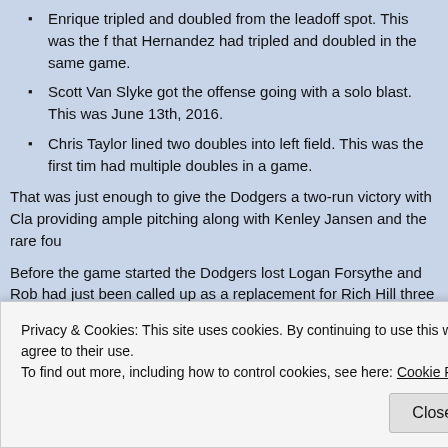Enrique tripled and doubled from the leadoff spot. This was the f... that Hernandez had tripled and doubled in the same game.
Scott Van Slyke got the offense going with a solo blast. This was... June 13th, 2016.
Chris Taylor lined two doubles into left field. This was the first tim... had multiple doubles in a game.
That was just enough to give the Dodgers a two-run victory with Cla... providing ample pitching along with Kenley Jansen and the rare fou...
Before the game started the Dodgers lost Logan Forsythe and Rob... had just been called up as a replacement for Rich Hill three days ag... beleaguered Rockies last Carlos Gonzalez when Clayton hit him on...
Privacy & Cookies: This site uses cookies. By continuing to use this website, you agree to their use. To find out more, including how to control cookies, see here: Cookie Policy